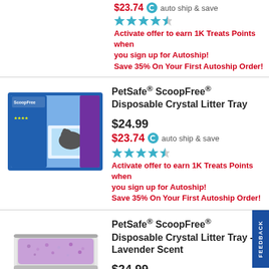$23.74 auto ship & save (partial, top)
[Figure (other): Star rating, approximately 4 out of 5 stars]
Activate offer to earn 1K Treats Points when you sign up for Autoship! Save 35% On Your First Autoship Order!
PetSafe® ScoopFree® Disposable Crystal Litter Tray
[Figure (photo): PetSafe ScoopFree Disposable Crystal Litter Tray product box showing a cat and the litter tray]
$24.99
$23.74 auto ship & save
[Figure (other): Star rating, approximately 4 out of 5 stars]
Activate offer to earn 1K Treats Points when you sign up for Autoship! Save 35% On Your First Autoship Order!
PetSafe® ScoopFree® Disposable Crystal Litter Tray - Lavender Scent
[Figure (photo): PetSafe ScoopFree Disposable Crystal Litter Tray - Lavender Scent product image showing lavender litter tray]
$24.99
$23.74 auto ship & save
[Figure (other): Star rating, approximately 4 out of 5 stars (partial)]